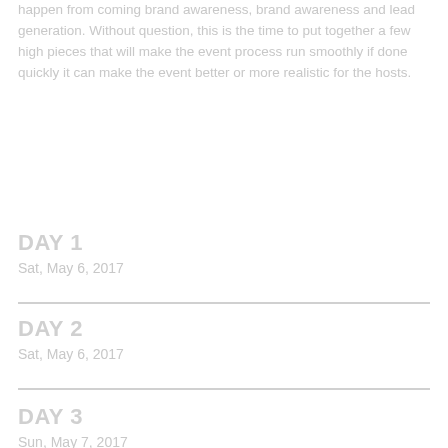happen from coming brand awareness, brand awareness and lead generation. Without question, this is the time to put together a few high pieces that will make the event process run smoothly if done quickly it can make the event better or more realistic for the hosts.
DAY 1
Sat, May 6, 2017
DAY 2
Sat, May 6, 2017
DAY 3
Sun, May 7, 2017